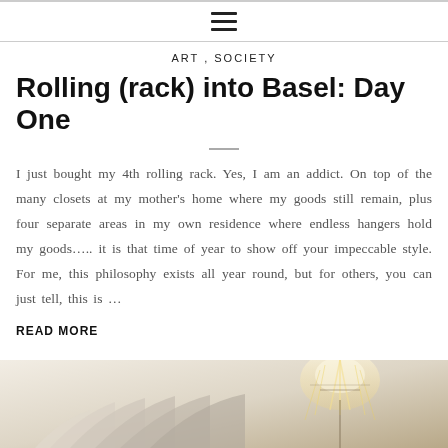≡
ART , SOCIETY
Rolling (rack) into Basel: Day One
I just bought my 4th rolling rack. Yes, I am an addict. On top of the many closets at my mother's home where my goods still remain, plus four separate areas in my own residence where endless hangers hold my goods….. it is that time of year to show off your impeccable style. For me, this philosophy exists all year round, but for others, you can just tell, this is …
READ MORE
[Figure (photo): Architectural interior photo showing curved white staircase or columns with warm lighting and a candelabra or light fixture visible on the right side]